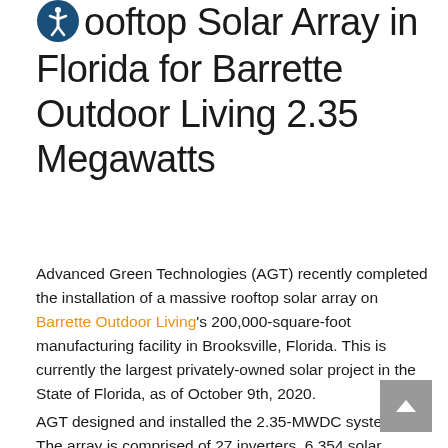Largest Privately Owned Rooftop Solar Array in Florida for Barrette Outdoor Living 2.35 Megawatts
Advanced Green Technologies (AGT) recently completed the installation of a massive rooftop solar array on Barrette Outdoor Living's 200,000-square-foot manufacturing facility in Brooksville, Florida. This is currently the largest privately-owned solar project in the State of Florida, as of October 9th, 2020.
AGT designed and installed the 2.35-MWDC system. The array is comprised of 27 inverters, 6,354 solar panels, and is